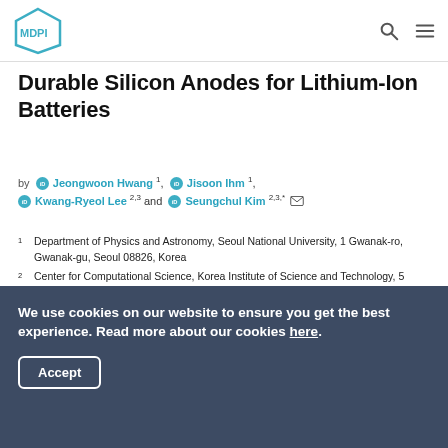MDPI
Durable Silicon Anodes for Lithium-Ion Batteries
by Jeongwoon Hwang 1, Jisoon Ihm 1, Kwang-Ryeol Lee 2,3 and Seungchul Kim 2,3,*
1 Department of Physics and Astronomy, Seoul National University, 1 Gwanak-ro, Gwanak-gu, Seoul 08826, Korea
2 Center for Computational Science, Korea Institute of Science and Technology, 5 Hwarang-ro 14-gil, Seongbuk-gu, Seoul 02792, Korea
3 Department of Nanomaterials Science and Engineering, Korea University of Science and Technology, 217 Gajeong-ro Yuseong-gu, Daejeon 34113, Korea
We use cookies on our website to ensure you get the best experience. Read more about our cookies here.
Accept